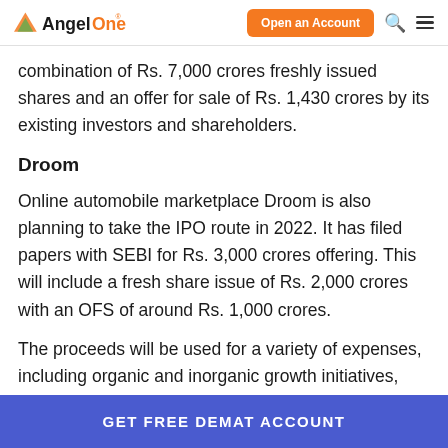AngelOne — Open an Account
combination of Rs. 7,000 crores freshly issued shares and an offer for sale of Rs. 1,430 crores by its existing investors and shareholders.
Droom
Online automobile marketplace Droom is also planning to take the IPO route in 2022. It has filed papers with SEBI for Rs. 3,000 crores offering. This will include a fresh share issue of Rs. 2,000 crores with an OFS of around Rs. 1,000 crores.
The proceeds will be used for a variety of expenses, including organic and inorganic growth initiatives,
GET FREE DEMAT ACCOUNT